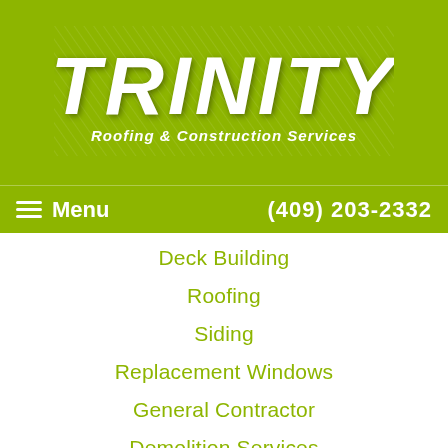[Figure (logo): Trinity Roofing & Construction Services logo with white italic bold text on yellow-green background with diagonal line patterns]
Menu  (409) 203-2332
Deck Building
Roofing
Siding
Replacement Windows
General Contractor
Demolition Services
Insulation
Hail Damage
[Figure (logo): reCAPTCHA logo with Privacy and Terms text]